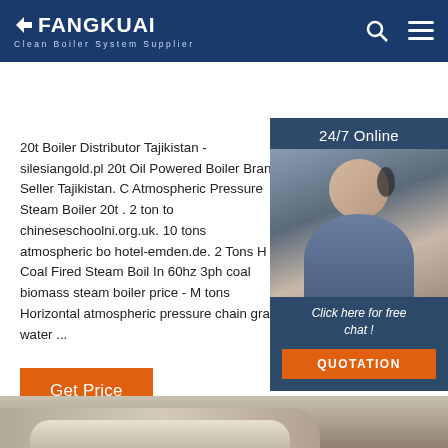FANGKUAI Clean Boiler System Supplier
[Figure (photo): Customer service representative with headset, smiling, with 24/7 Online panel, Click here for free chat text, and QUOTATION button]
20t Boiler Distributor Tajikistan - silesiangold.pl 20t Oil Powered Boiler Brand Seller Tajikistan. C Atmospheric Pressure Steam Boiler 20t . 2 ton to chineseschoolni.org.uk. 10 tons atmospheric bo hotel-emden.de. 2 Tons H Coal Fired Steam Boil In 60hz 3ph coal biomass steam boiler price - M tons Horizontal atmospheric pressure chain gra water ...
Get Price
[Figure (illustration): TOP label with orange dots arranged in an arch above the word TOP in orange bold text]
[Figure (photo): Bottom strip showing interior scene with sofa/couch]